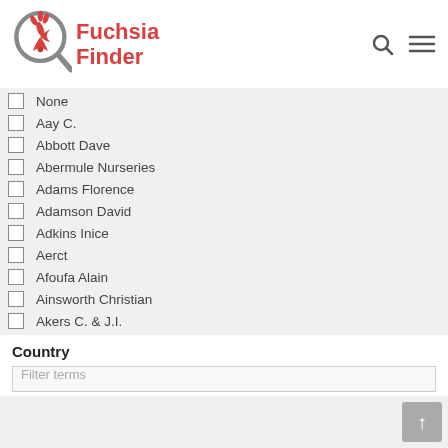[Figure (logo): Fuchsia Finder logo with magnifying glass and fuchsia plant icon, red text reading Fuchsia Finder]
None
Aay C.
Abbott Dave
Abermule Nurseries
Adams Florence
Adamson David
Adkins Inice
Aerct
Afoufa Alain
Ainsworth Christian
Akers C. & J.I.
Akers/Laburnum
Alberta
Country
Filter terms